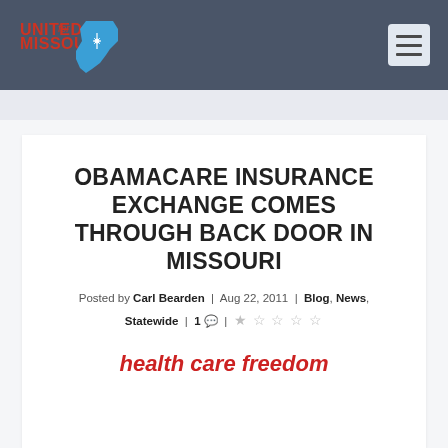[Figure (logo): United for Missouri logo with red and blue text and Missouri state shape in blue with a star/compass design]
OBAMACARE INSURANCE EXCHANGE COMES THROUGH BACK DOOR IN MISSOURI
Posted by Carl Bearden | Aug 22, 2011 | Blog, News, Statewide | 1 💬 | ☆☆☆☆☆
health care freedom